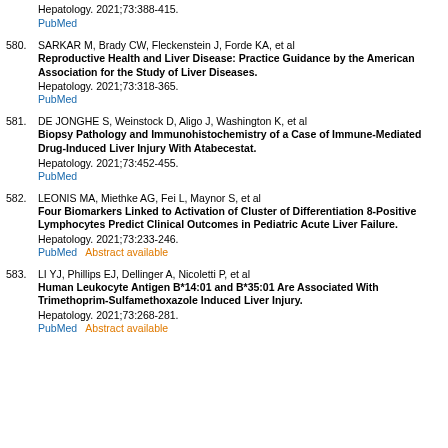Hepatology. 2021;73:388-415.
PubMed
580. SARKAR M, Brady CW, Fleckenstein J, Forde KA, et al
Reproductive Health and Liver Disease: Practice Guidance by the American Association for the Study of Liver Diseases.
Hepatology. 2021;73:318-365.
PubMed
581. DE JONGHE S, Weinstock D, Aligo J, Washington K, et al
Biopsy Pathology and Immunohistochemistry of a Case of Immune-Mediated Drug-Induced Liver Injury With Atabecestat.
Hepatology. 2021;73:452-455.
PubMed
582. LEONIS MA, Miethke AG, Fei L, Maynor S, et al
Four Biomarkers Linked to Activation of Cluster of Differentiation 8-Positive Lymphocytes Predict Clinical Outcomes in Pediatric Acute Liver Failure.
Hepatology. 2021;73:233-246.
PubMed   Abstract available
583. LI YJ, Phillips EJ, Dellinger A, Nicoletti P, et al
Human Leukocyte Antigen B*14:01 and B*35:01 Are Associated With Trimethoprim-Sulfamethoxazole Induced Liver Injury.
Hepatology. 2021;73:268-281.
PubMed   Abstract available